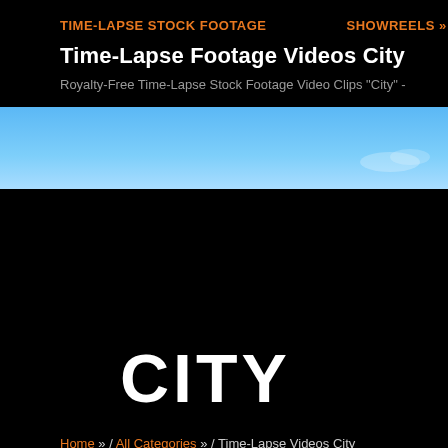TIME-LAPSE STOCK FOOTAGE    SHOWREELS »
Time-Lapse Footage Videos City
Royalty-Free Time-Lapse Stock Footage Video Clips "City" -
[Figure (photo): Blue sky banner image, wide crop showing sky with faint cloud.]
CITY
Home » / All Categories » / Time-Lapse Videos City
City Timelapse Stock Footage Videos:
« back